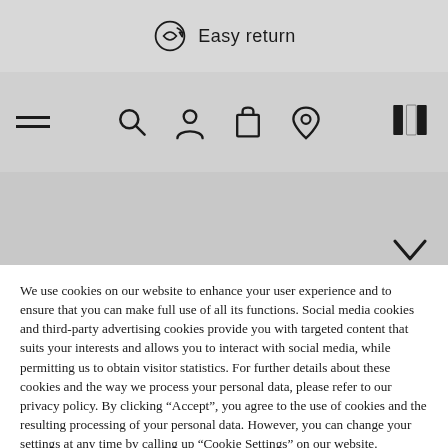[Figure (screenshot): E-commerce website header with 'Easy return' banner and navigation icons (search, user, cart, location, store locator), hamburger menu, and a chevron-down arrow.]
We use cookies on our website to enhance your user experience and to ensure that you can make full use of all its functions. Social media cookies and third-party advertising cookies provide you with targeted content that suits your interests and allows you to interact with social media, while permitting us to obtain visitor statistics. For further details about these cookies and the way we process your personal data, please refer to our privacy policy. By clicking “Accept”, you agree to the use of cookies and the resulting processing of your personal data. However, you can change your settings at any time by calling up “Cookie Settings” on our website.
COOKIE SETTINGS
ACCEPT